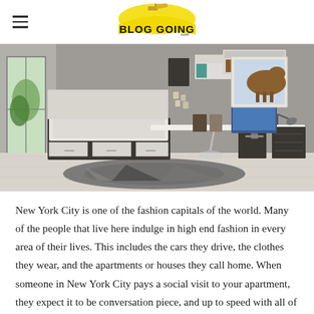BLOG GOING
[Figure (photo): Modern bedroom/studio room with a platform bed with storage drawers, wall-mounted shelving units, a long white desk with an iMac computer, a desk lamp, framed photos, wall art of a horse, and a geometric area rug on light hardwood floors.]
New York City is one of the fashion capitals of the world. Many of the people that live here indulge in high end fashion in every area of their lives. This includes the cars they drive, the clothes they wear, and the apartments or houses they call home. When someone in New York City pays a social visit to your apartment, they expect it to be conversation piece, and up to speed with all of the latest